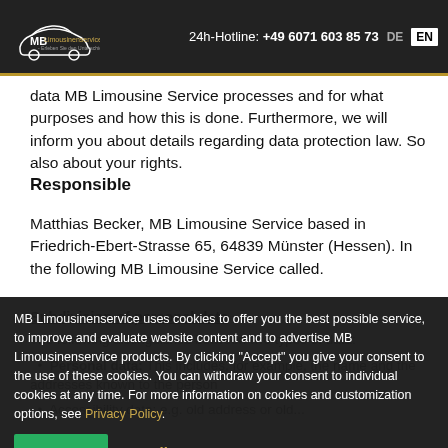MB Limousinenservice | 24h-Hotline: +49 6071 603 85 73 | DE | EN
data MB Limousine Service processes and for what purposes and how this is done. Furthermore, we will inform you about details regarding data protection law. So also about your rights.
Responsible
Matthias Becker, MB Limousine Service based in Friedrich-Ebert-Strasse 65, 64839 Münster (Hessen). In the following MB Limousine Service called.
Subdivision of personal data
MB Limousinenservice uses cookies to offer you the best possible service, to improve and evaluate website content and to advertise MB Limousinenservice products. By clicking "Accept" you give your consent to the use of these cookies. You can withdraw your consent to individual cookies at any time. For more information on cookies and customization options, see Privacy Policy.
Personal data: This includes, for example, the name and the addresses known to the person
Accessibility data: e.g. old address or old...